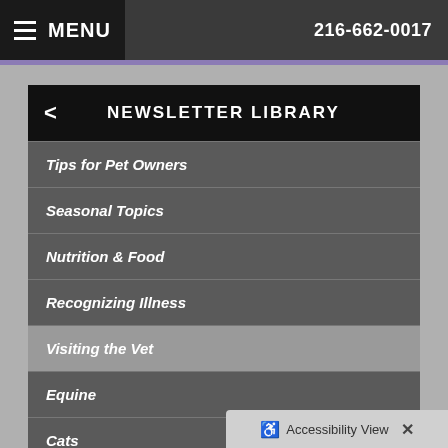MENU  216-662-0017
NEWSLETTER LIBRARY
Tips for Pet Owners
Seasonal Topics
Nutrition & Food
Recognizing Illness
Visiting the Vet
Equine
Cats
Keeping Pets Healthy
Accessibility View